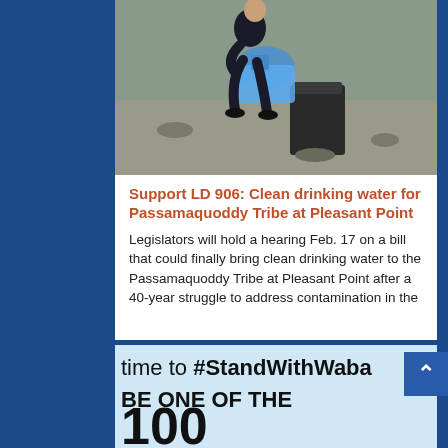[Figure (photo): Person crouching outdoors holding a large blue water jug/container near what appears to be a barrel or drum on rocky/gravel ground]
Support LD 906: Clean drinking water for Passamaquoddy Tribe at Pleasant Point
Legislators will hold a hearing Feb. 17 on a bill that could finally bring clean drinking water to the Passamaquoddy Tribe at Pleasant Point after a 40-year struggle to address contamination in the
[Figure (screenshot): Light blue banner image with text 'time to #StandWithWaba' on the first line and 'BE ONE OF THE' on the second line, with large partially visible numbers below (100)]